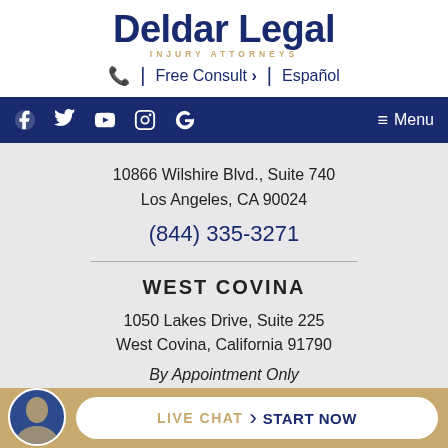Deldar Legal INJURY ATTORNEYS
☎ | Free Consult › | Español
Facebook Twitter YouTube Instagram Google | Menu
10866 Wilshire Blvd., Suite 740
Los Angeles, CA 90024
(844) 335-3271
WEST COVINA
1050 Lakes Drive, Suite 225
West Covina, California 91790
By Appointment Only
(844) 335-3271
LIVE CHAT › START NOW